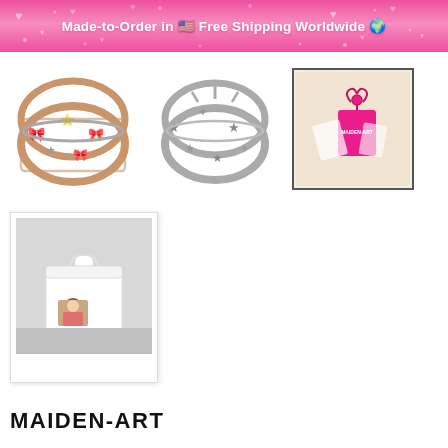Made-to-Order in 🇺🇸 Free Shipping Worldwide 🌍
[Figure (photo): Rose gold cuff bracelet with bows, stars and chains]
[Figure (photo): Silver cuff bracelet with spikes and stars]
[Figure (photo): Pink satin gift pouch with Maiden-Art branding, Instagram-filtered photo]
[Figure (photo): White gift box with handle featuring a girl photo, on a light surface]
MAIDEN-ART